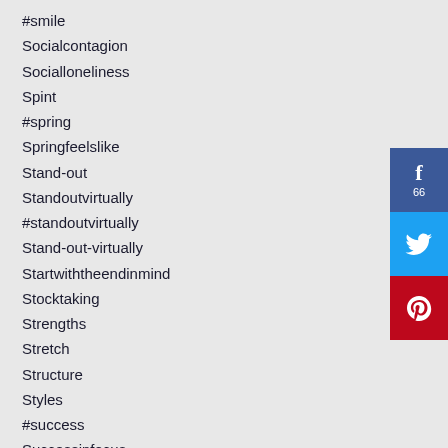#smile
Socialcontagion
Socialloneliness
Spint
#spring
Springfeelslike
Stand-out
Standoutvirtually
#standoutvirtually
Stand-out-virtually
Startwiththeendinmind
Stocktaking
Strengths
Stretch
Structure
Styles
#success
Successinfocus
Sunday-audio
[Figure (infographic): Social media sharing buttons: Facebook (with count 66), Twitter, Pinterest]